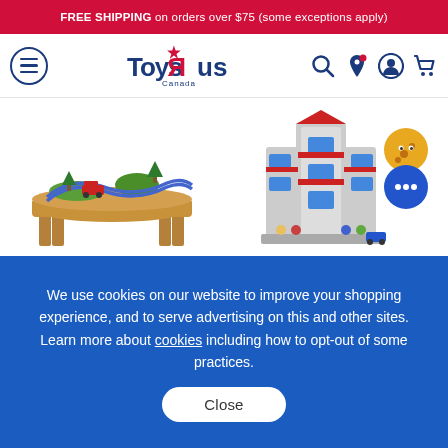FREE SHIPPING on orders over $75 (some exceptions apply)
[Figure (logo): Toys R Us Canada navigation bar with hamburger menu, Toys R Us Canada logo, search icon, location icon, account icon, and cart icon]
[Figure (photo): Imaginarium Express - Railway Adventure wooden train table set with train tracks and accessories]
[Figure (photo): PAW Patrol, Movie Ultimate City 3ft. Tall playset with figures and vehicles]
Imaginarium Express - Railway Adventure
PAW Patrol, Movie Ultimate City 3ft. Tal
We use cookies on our website to improve your shopping experience, and to serve advertising on this and other sites. Learn more about cookies including how to opt-out of some practices.